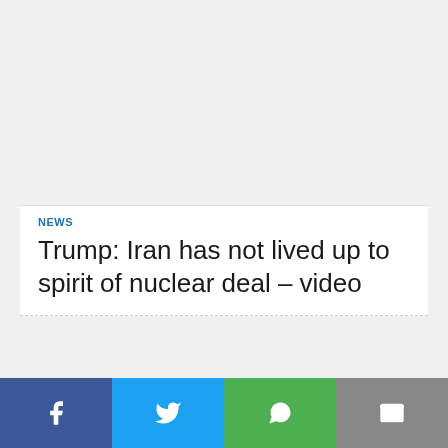[Figure (other): Advertisement placeholder block at top of page]
NEWS
Trump: Iran has not lived up to spirit of nuclear deal – video
[Figure (other): Advertisement placeholder block below article title]
[Figure (infographic): Social sharing bar with Facebook, Twitter, WhatsApp, and Email buttons]